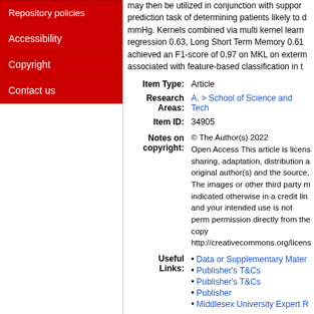Repository policies
Accessibility
Copyright
Contact us
may then be utilized in conjunction with support prediction task of determining patients likely to d mmHg. Kernels combined via multi kernel learn regression 0.63, Long Short Term Memory 0.61 achieved an F1-score of 0.97 on MKL on extr associated with feature-based classification in t
| Field | Value |
| --- | --- |
| Item Type: | Article |
| Research Areas: | A. > School of Science and Techu |
| Item ID: | 34905 |
| Notes on copyright: | © The Author(s) 2022
Open Access This article is licens sharing, adaptation, distribution a original author(s) and the source, The images or other third party m indicated otherwise in a credit lin and your intended use is not per permission directly from the copy http://creativecommons.org/licens |
| Useful Links: | • Data or Supplementary Mater
• Publisher's T&Cs
• Publisher's T&Cs
• Publisher
• Middlesex University Expert R |